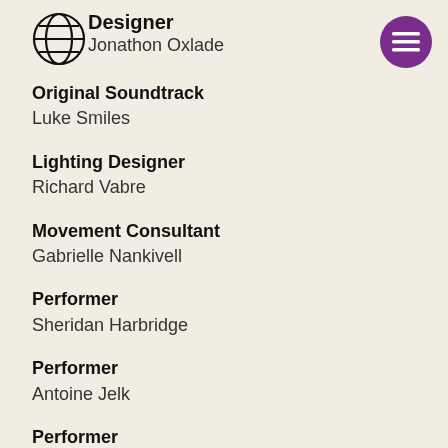[Figure (logo): Globe/grid logo icon overlapping with text]
Designer
Jonathon Oxlade
Original Soundtrack
Luke Smiles
Lighting Designer
Richard Vabre
Movement Consultant
Gabrielle Nankivell
Performer
Sheridan Harbridge
Performer
Antoine Jelk
Performer
Amber McMahon
Performer
Ellen Steele